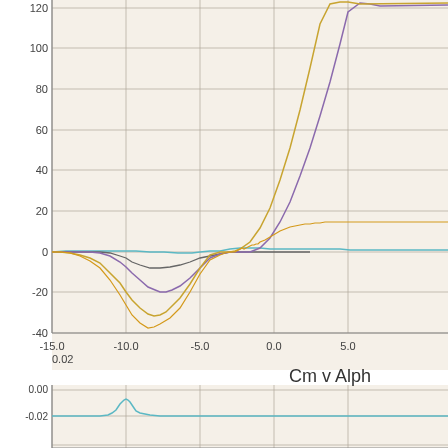[Figure (continuous-plot): Two continuous line charts partially visible. Top chart shows multiple curves (teal/cyan, purple, gold/orange, dark gold) plotted against alpha angle x-axis (-15.0 to 5.0+) and y-axis (-40 to 120). Curves converge near x=-5 to 0 and diverge sharply. Bottom chart titled 'Cm v Alph' shows y-axis from 0.00 to -0.02 with a teal curve forming a peak around x=-10.]